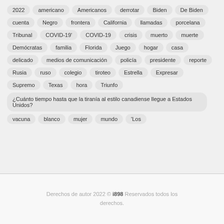2022
americano
Americanos
derrotar
Biden
De Biden
cuenta
Negro
frontera
California
llamadas
porcelana
Tribunal
COVID-19'
COVID-19
crisis
muerto
muerte
Demócratas
familia
Florida
Juego
hogar
casa
delicado
medios de comunicación
policía
presidente
reporte
Rusia
ruso
colegio
tiroteo
Estrella
Expresar
Supremo
Texas
hora
Triunfo
¿Cuánto tiempo hasta que la tiranía al estilo canadiense llegue a Estados Unidos?
vacuna
blanco
mujer
mundo
'Los
Derechos de autor 2022 © i898 Reservados todos los derechos.